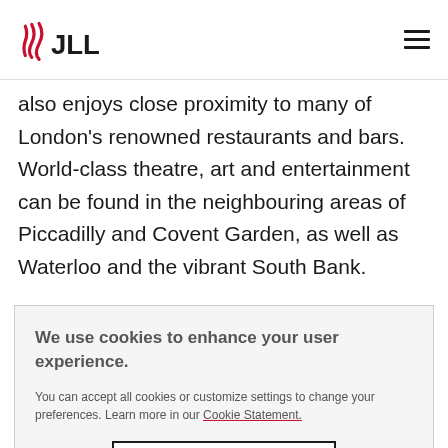JLL
also enjoys close proximity to many of London's renowned restaurants and bars. World-class theatre, art and entertainment can be found in the neighbouring areas of Piccadilly and Covent Garden, as well as Waterloo and the vibrant South Bank.
Viewings
We use cookies to enhance your user experience.
You can accept all cookies or customize settings to change your preferences. Learn more in our Cookie Statement.
Cookies Settings